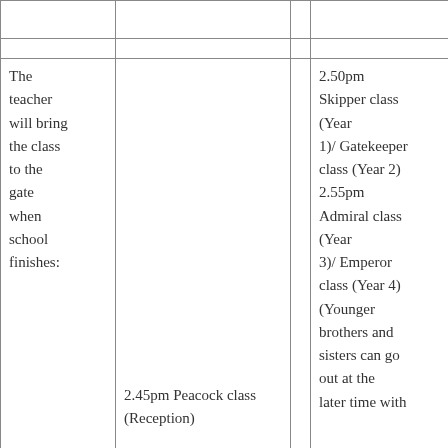|  |  |  |  |
|  |  |  |  |
| The teacher will bring the class to the gate when school finishes: | 2.45pm Peacock class (Reception) |  | 2.50pm Skipper class (Year 1)/ Gatekeeper class (Year 2)
2.55pm Admiral class (Year 3)/ Emperor class (Year 4) (Younger brothers and sisters can go out at the later time with |